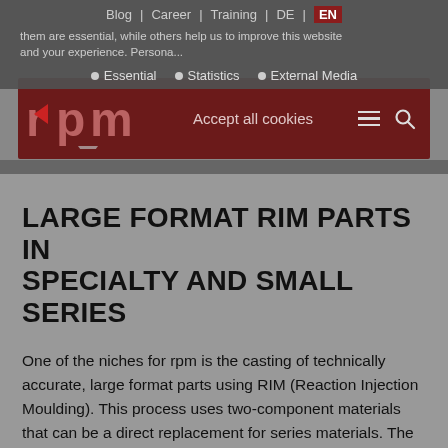Blog | Career | Training | DE | EN
them are essential, while others help us to improve this website and your experience. Persona... | Accept all cookies
Essential
Statistics
External Media
[Figure (logo): RPM company logo in dark red/maroon background navigation bar with hamburger menu and search icon]
LARGE FORMAT RIM PARTS IN SPECIALTY AND SMALL SERIES
One of the niches for rpm is the casting of technically accurate, large format parts using RIM (Reaction Injection Moulding). This process uses two-component materials that can be a direct replacement for series materials. The parts can be finished with painting, lamination or the addition of metal components such as inserts. Once our RIM materials have been validated by